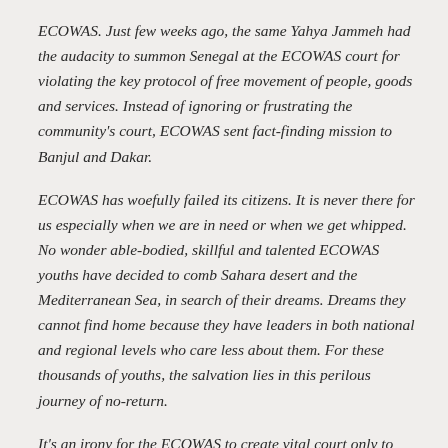ECOWAS. Just few weeks ago, the same Yahya Jammeh had the audacity to summon Senegal at the ECOWAS court for violating the key protocol of free movement of people, goods and services. Instead of ignoring or frustrating the community's court, ECOWAS sent fact-finding mission to Banjul and Dakar.
ECOWAS has woefully failed its citizens. It is never there for us especially when we are in need or when we get whipped. No wonder able-bodied, skillful and talented ECOWAS youths have decided to comb Sahara desert and the Mediterranean Sea, in search of their dreams. Dreams they cannot find home because they have leaders in both national and regional levels who care less about them. For these thousands of youths, the salvation lies in this perilous journey of no-return.
It's an irony for the ECOWAS to create vital court only to